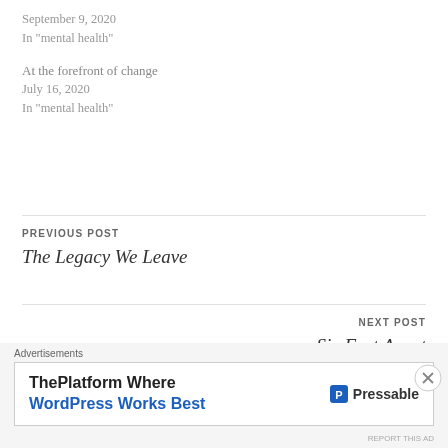September 9, 2020
In "mental health"
At the forefront of change
July 16, 2020
In "mental health"
PREVIOUS POST
The Legacy We Leave
NEXT POST
Six Feet Apart
Advertisements
[Figure (other): Pressable advertisement: ThePlatform Where WordPress Works Best]